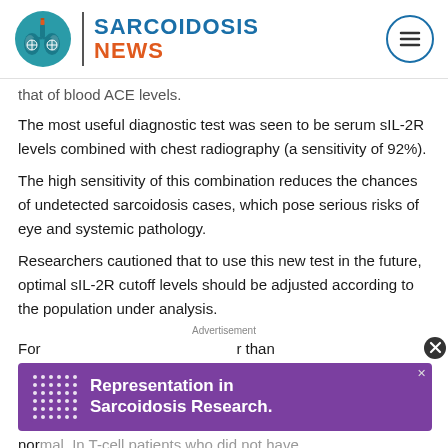SARCOIDOSIS NEWS
that of blood ACE levels.
The most useful diagnostic test was seen to be serum sIL-2R levels combined with chest radiography (a sensitivity of 92%).
The high sensitivity of this combination reduces the chances of undetected sarcoidosis cases, which pose serious risks of eye and systemic pathology.
Researchers cautioned that to use this new test in the future, optimal sIL-2R cutoff levels should be adjusted according to the population under analysis.
For [ad overlay] than normal. In T-cell patients who did not have sarcoidosis, indicating the presence of other T-cell
[Figure (infographic): Purple advertisement banner reading 'Representation in Sarcoidosis Research.' with dot pattern logo on left side]